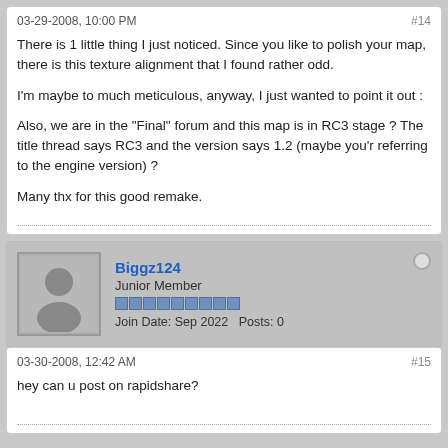03-29-2008, 10:00 PM
#14
There is 1 little thing I just noticed. Since you like to polish your map, there is this texture alignment that I found rather odd.

I'm maybe to much meticulous, anyway, I just wanted to point it out :


Also, we are in the "Final" forum and this map is in RC3 stage ? The title thread says RC3 and the version says 1.2 (maybe you'r referring to the engine version) ?

Many thx for this good remake.
Biggz124
Junior Member
Join Date: Sep 2022   Posts: 0
03-30-2008, 12:42 AM
#15
hey can u post on rapidshare?